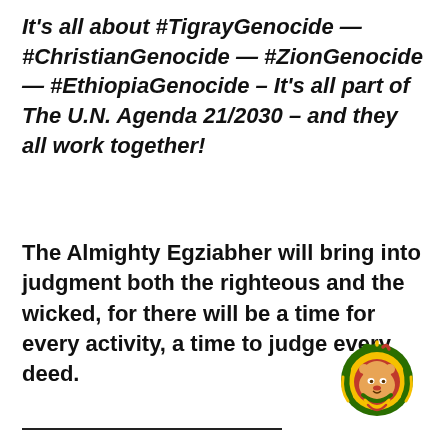It's all about #TigrayGenocide — #ChristianGenocide — #ZionGenocide — #EthiopiaGenocide – It's all part of The U.N. Agenda 21/2030 – and they all work together!
The Almighty Egziabher will bring into judgment both the righteous and the wicked, for there will be a time for every activity, a time to judge every deed.
[Figure (logo): Rastafarian lion head logo with red, gold, and green mane colors]